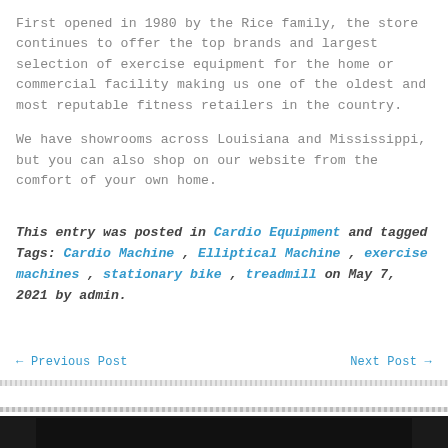First opened in 1980 by the Rice family, the store continues to offer the top brands and largest selection of exercise equipment for the home or commercial facility making us one of the oldest and most reputable fitness retailers in the country.
We have showrooms across Louisiana and Mississippi, but you can also shop on our website from the comfort of your own home.
This entry was posted in Cardio Equipment and tagged Tags: Cardio Machine , Elliptical Machine , exercise machines , stationary bike , treadmill on May 7, 2021 by admin.
← Previous Post    Next Post →